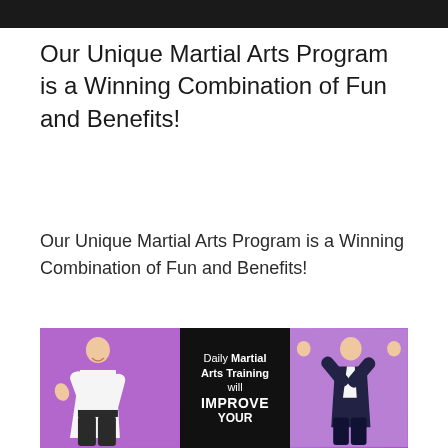Our Unique Martial Arts Program is a Winning Combination of Fun and Benefits!
Our Unique Martial Arts Program is a Winning Combination of Fun and Benefits!
[Figure (photo): Two people on a purple background flanking a black center banner reading 'Daily Martial Arts Training will IMPROVE YOUR']